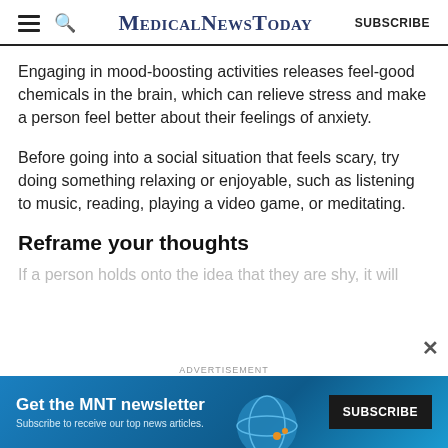MedicalNewsToday  SUBSCRIBE
Engaging in mood-boosting activities releases feel-good chemicals in the brain, which can relieve stress and make a person feel better about their feelings of anxiety.
Before going into a social situation that feels scary, try doing something relaxing or enjoyable, such as listening to music, reading, playing a video game, or meditating.
Reframe your thoughts
If a person holds onto the idea that they are shy, it will
[Figure (other): Advertisement banner for MNT newsletter subscription. Blue gradient background with 'Get the MNT newsletter' headline, 'Subscribe to receive our top news articles.' subtext, and a black SUBSCRIBE button. A globe graphic is partially visible.]